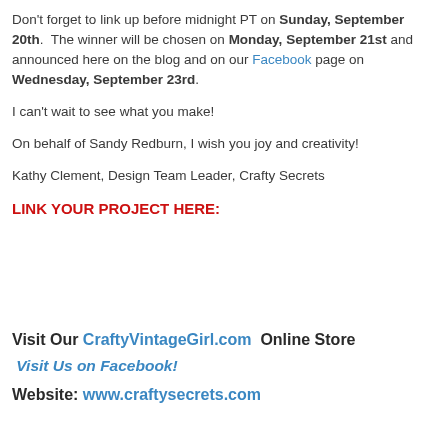Don't forget to link up before midnight PT on Sunday, September 20th. The winner will be chosen on Monday, September 21st and announced here on the blog and on our Facebook page on Wednesday, September 23rd.
I can't wait to see what you make!
On behalf of Sandy Redburn, I wish you joy and creativity!
Kathy Clement, Design Team Leader, Crafty Secrets
LINK YOUR PROJECT HERE:
Visit Our CraftyVintageGirl.com Online Store
Visit Us on Facebook!
Website: www.craftysecrets.com